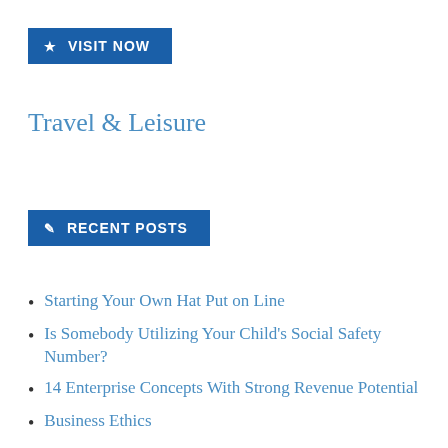★ VISIT NOW
Travel & Leisure
✎ RECENT POSTS
Starting Your Own Hat Put on Line
Is Somebody Utilizing Your Child's Social Safety Number?
14 Enterprise Concepts With Strong Revenue Potential
Business Ethics
Small Business Mortgage Basics